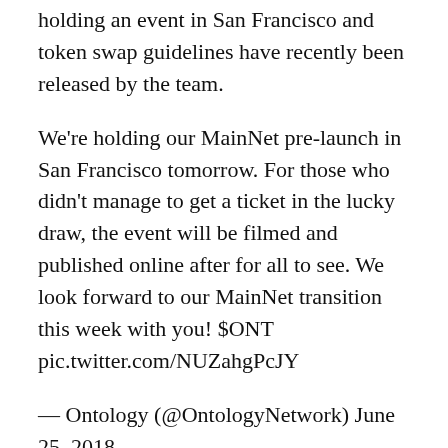holding an event in San Francisco and token swap guidelines have recently been released by the team.
We're holding our MainNet pre-launch in San Francisco tomorrow. For those who didn't manage to get a ticket in the lucky draw, the event will be filmed and published online after for all to see. We look forward to our MainNet transition this week with you! $ONT pic.twitter.com/NUZahgPcJY
— Ontology (@OntologyNetwork) June 25, 2018
Ontology's mainnet will go live on June 30th, after the release all NEP-5 ONT tokens must complete mapping to migrate to the new blockchain. There